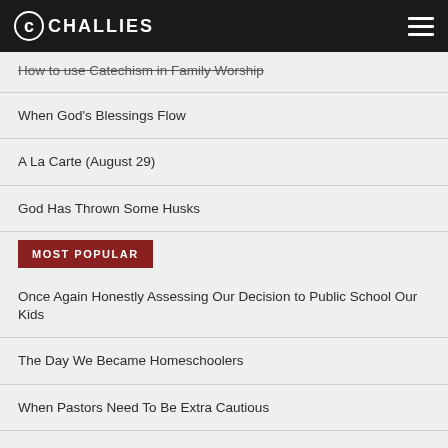CHALLIES
How to use Catechism in Family Worship
When God's Blessings Flow
A La Carte (August 29)
God Has Thrown Some Husks
MOST POPULAR
Once Again Honestly Assessing Our Decision to Public School Our Kids
The Day We Became Homeschoolers
When Pastors Need To Be Extra Cautious
7 False Teachers in the Church Today